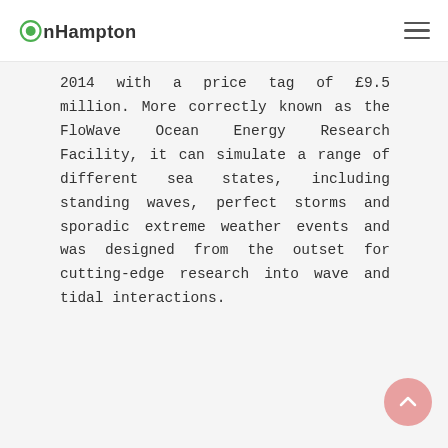onHampton
2014 with a price tag of £9.5 million. More correctly known as the FloWave Ocean Energy Research Facility, it can simulate a range of different sea states, including standing waves, perfect storms and sporadic extreme weather events and was designed from the outset for cutting-edge research into wave and tidal interactions.